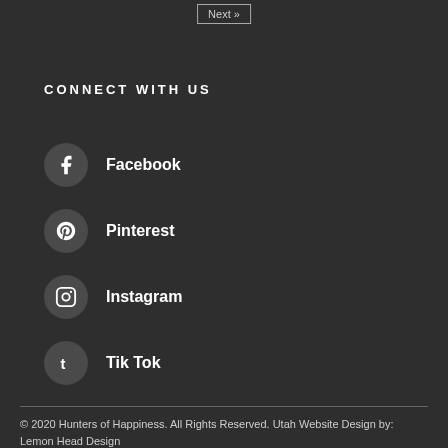Next »
CONNECT WITH US
Facebook
Pinterest
Instagram
Tik Tok
© 2020 Hunters of Happiness. All Rights Reserved. Utah Website Design by: Lemon Head Design